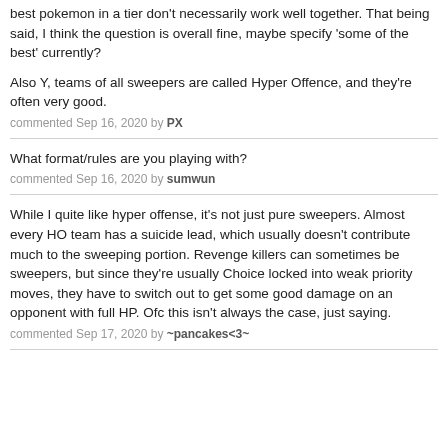best pokemon in a tier don't necessarily work well together. That being said, I think the question is overall fine, maybe specify 'some of the best' currently?
Also Y, teams of all sweepers are called Hyper Offence, and they're often very good.
commented Sep 16, 2020 by PX
What format/rules are you playing with?
commented Sep 16, 2020 by sumwun
While I quite like hyper offense, it's not just pure sweepers. Almost every HO team has a suicide lead, which usually doesn't contribute much to the sweeping portion. Revenge killers can sometimes be sweepers, but since they're usually Choice locked into weak priority moves, they have to switch out to get some good damage on an opponent with full HP. Ofc this isn't always the case, just saying.
commented Sep 17, 2020 by ~pancakes<3~